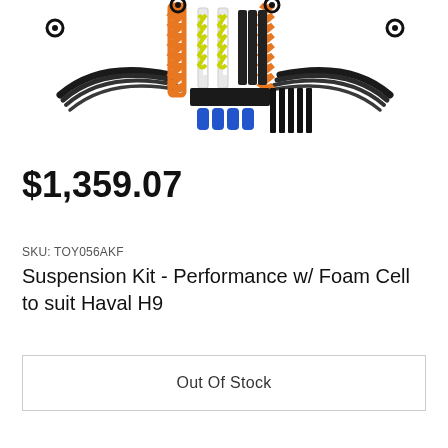[Figure (photo): Suspension kit product photo showing leaf springs, orange coil springs, shock absorbers with yellow springs, and blue bump stops on a white background]
$1,359.07
SKU: TOY056AKF
Suspension Kit - Performance w/ Foam Cell to suit Haval H9
Out Of Stock